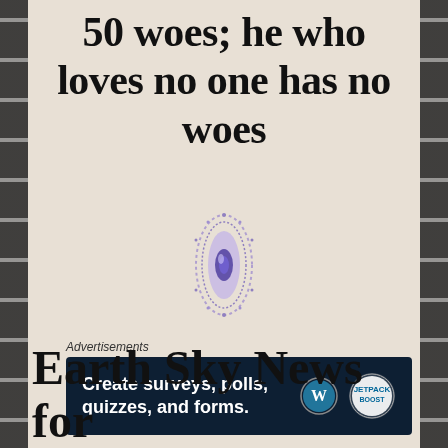50 woes; he who loves no one has no woes
[Figure (photo): Small ornate oval jewel or brooch with blue and purple decorative elements, centered on page]
Advertisements
[Figure (infographic): Dark navy advertisement banner reading 'Create surveys, polls, quizzes, and forms.' with WordPress and Jetpack logos]
Earth Sky News for